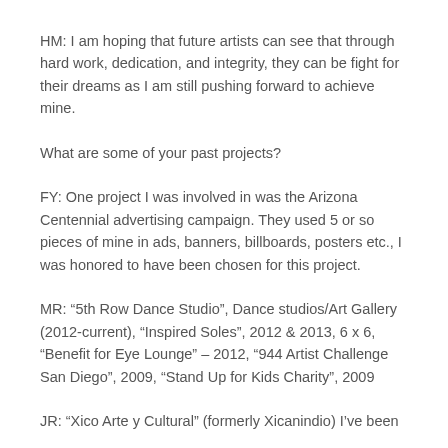HM: I am hoping that future artists can see that through hard work, dedication, and integrity, they can be fight for their dreams as I am still pushing forward to achieve mine.
What are some of your past projects?
FY: One project I was involved in was the Arizona Centennial advertising campaign. They used 5 or so pieces of mine in ads, banners, billboards, posters etc., I was honored to have been chosen for this project.
MR: “5th Row Dance Studio”, Dance studios/Art Gallery (2012-current), “Inspired Soles”, 2012 & 2013, 6 x 6, “Benefit for Eye Lounge” – 2012, “944 Artist Challenge San Diego”, 2009, “Stand Up for Kids Charity”, 2009
JR: “Xico Arte y Cultural” (formerly Xicanindio) I’ve been